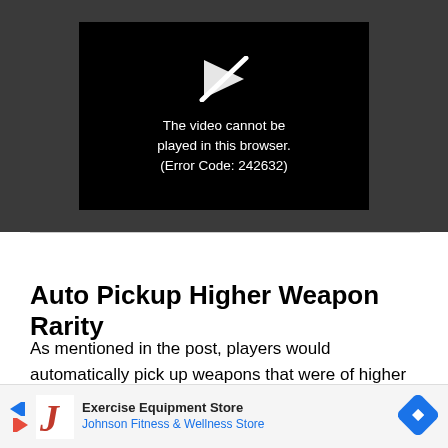[Figure (screenshot): Video player error screen showing a play icon with a slash through it and the message 'The video cannot be played in this browser. (Error Code: 242632)' on a black background, surrounded by a dark gray video player area.]
Auto Pickup Higher Weapon Rarity
As mentioned in the post, players would automatically pick up weapons that were of higher rarity, but only if the same gun with a higher rarity was on the floor. There would be no reas[on]... [the] exact s[ame]...
[Figure (screenshot): Advertisement banner for Johnson Fitness & Wellness Store - Exercise Equipment Store, with navigation arrow icons on the left and a blue diamond direction sign icon on the right.]